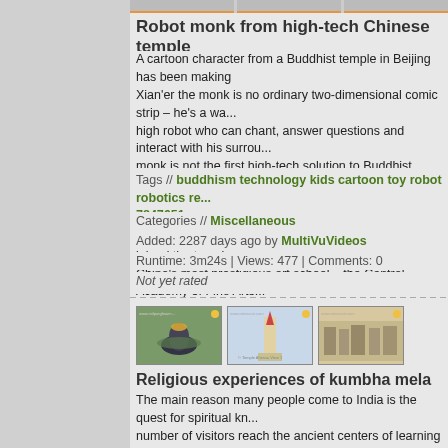Robot monk from high-tech Chinese temple
A cartoon character from a Buddhist temple in Beijing has been making waves... Xian'er the monk is no ordinary two-dimensional comic strip – he's a wa... high robot who can chant, answer questions and interact with his surroundings... monk is not the first high-tech solution to Buddhist teachings from Longquan... institution is staffed by monks who operate computers and smart phones... beads and singing bowls. His creator, Master Xianfan joined the temple... China's most prestigious art school – the Central Academy of Fine Arts... release go to: http://www.multivu.com/players/English/7847651-bon-cloud...
Tags // buddhism technology kids cartoon toy robot robotics re... 7847651
Categories // Miscellaneous
Added: 2287 days ago by MultiVuVideos
Runtime: 3m24s | Views: 477 | Comments: 0
Not yet rated
[Figure (photo): Thumbnail image 1 - religious artifact (shiva lingam with flowers)]
[Figure (photo): Thumbnail image 2 - temple spire against sky]
[Figure (photo): Thumbnail image 3 - group of people at religious site]
Religious experiences of kumbha mela
The main reason many people come to India is the quest for spiritual kn... number of visitors reach the ancient centers of learning like Kashi, Bodh... Puri, Dwarika, Haridwar, Gorakpur, Rishikesh etc to satisfy their thirst... India from time immemorial has been considered the Jagat Guru of all s... Intellectual and Philosophical concepts and ideas. The same Sanathana... Dharma forms the basis of Buddhism or the Buddha Dharma, Jainism o...